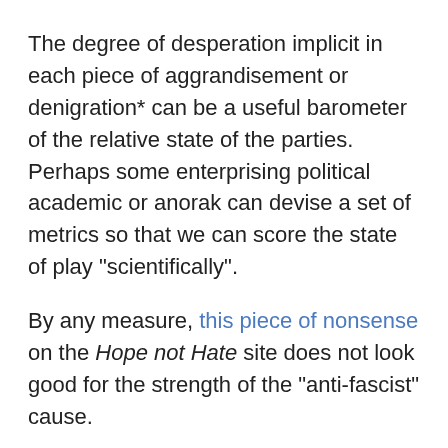The degree of desperation implicit in each piece of aggrandisement or denigration* can be a useful barometer of the relative state of the parties. Perhaps some enterprising political academic or anorak can devise a set of metrics so that we can score the state of play "scientifically".
By any measure, this piece of nonsense on the Hope not Hate site does not look good for the strength of the "anti-fascist" cause.
It transpires that Simon Darby, the BNP's No 2, has been to a gathering of like-minded souls in Italy. Apparently (I have not cross-checked), the BNP website erroneously reported this as taking place in Rome rather than Milan. A tad careless but hardly a harbinger of the imminent collapse of civilization, is it?
On his return, Mr Darby was to attend a meeting with other BNP officials. It would appear — and if you are of a sensitive nature you might wish to sit down and take a couple of deep breaths before reading on — it would appear that the fiend